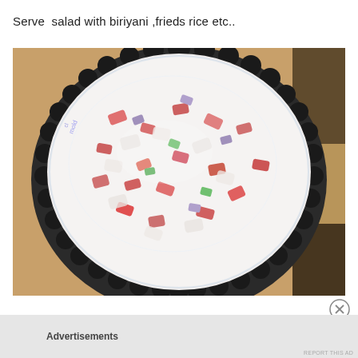Serve  salad with biriyani ,frieds rice etc..
[Figure (photo): Overhead view of a large round bowl or pan filled with a creamy white salad containing colorful pieces of vegetables and other ingredients, set on a wooden surface. The bowl has a decorative dark scalloped edge.]
Advertisements